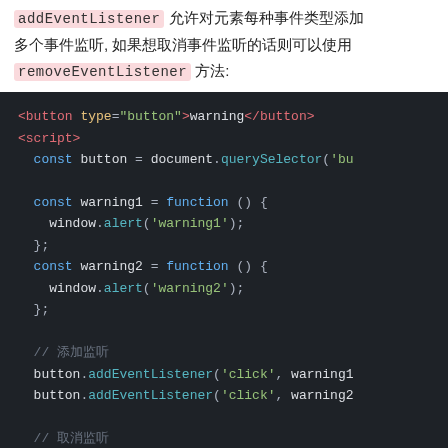addEventListener 允许对元素每种事件类型添加多个事件监听, 如果想取消事件监听的话则可以使用 removeEventListener 方法:
[Figure (screenshot): Dark-themed code editor showing JavaScript code with HTML button element and script using addEventListener for 'click' events with warning1 and warning2 functions, and a comment section at bottom.]